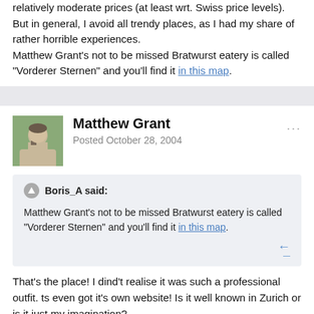relatively moderate prices (at least wrt. Swiss price levels). But in general, I avoid all trendy places, as I had my share of rather horrible experiences.
Matthew Grant's not to be missed Bratwurst eatery is called "Vorderer Sternen" and you'll find it in this map.
Matthew Grant
Posted October 28, 2004
Boris_A said:
Matthew Grant's not to be missed Bratwurst eatery is called "Vorderer Sternen" and you'll find it in this map.
That's the place! I dind't realise it was such a professional outfit. ts even got it's own website! Is it well known in Zurich or is it just my imagination?